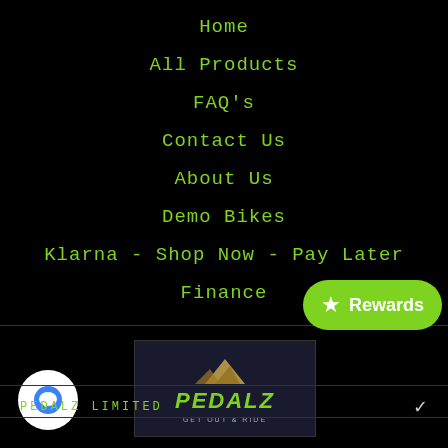Home
All Products
FAQ's
Contact Us
About Us
Demo Bikes
Klarna - Shop Now - Pay Later
Finance
[Figure (logo): Pedalz logo with mountain graphic and tagline GET OUT & RIDE on dark background]
PEDALZ LIMITED